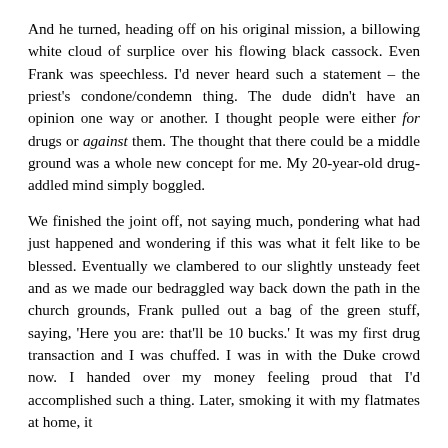And he turned, heading off on his original mission, a billowing white cloud of surplice over his flowing black cassock. Even Frank was speechless. I'd never heard such a statement – the priest's condone/condemn thing. The dude didn't have an opinion one way or another. I thought people were either for drugs or against them. The thought that there could be a middle ground was a whole new concept for me. My 20-year-old drug-addled mind simply boggled.
We finished the joint off, not saying much, pondering what had just happened and wondering if this was what it felt like to be blessed. Eventually we clambered to our slightly unsteady feet and as we made our bedraggled way back down the path in the church grounds, Frank pulled out a bag of the green stuff, saying, 'Here you are: that'll be 10 bucks.' It was my first drug transaction and I was chuffed. I was in with the Duke crowd now. I handed over my money feeling proud that I'd accomplished such a thing. Later, smoking it with my flatmates at home, it didn't seem to have the same effect. I wondered if it...